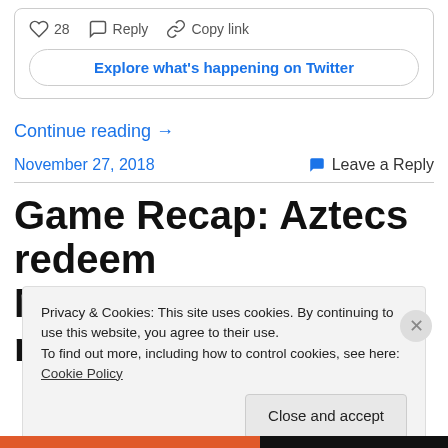[Figure (screenshot): Twitter embedded widget showing heart icon with 28 likes, Reply button, Copy link button, and 'Explore what's happening on Twitter' button]
Continue reading →
November 27, 2018
Leave a Reply
Game Recap: Aztecs redeem Maui trip with memorable
Privacy & Cookies: This site uses cookies. By continuing to use this website, you agree to their use.
To find out more, including how to control cookies, see here: Cookie Policy
Close and accept